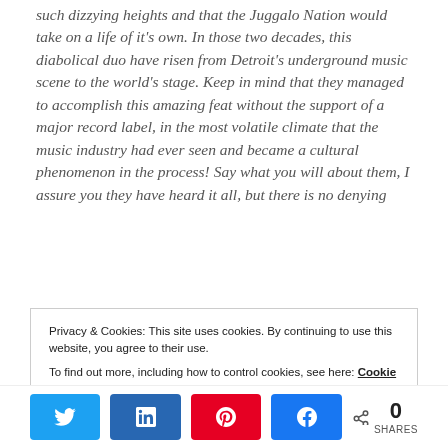such dizzying heights and that the Juggalo Nation would take on a life of it's own. In those two decades, this diabolical duo have risen from Detroit's underground music scene to the world's stage. Keep in mind that they managed to accomplish this amazing feat without the support of a major record label, in the most volatile climate that the music industry had ever seen and became a cultural phenomenon in the process! Say what you will about them, I assure you they have heard it all, but there is no denying
Privacy & Cookies: This site uses cookies. By continuing to use this website, you agree to their use. To find out more, including how to control cookies, see here: Cookie Policy
0 SHARES